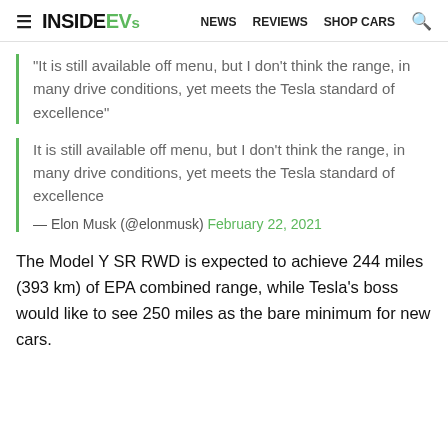InsideEVs — NEWS  REVIEWS  SHOP CARS
"It is still available off menu, but I don't think the range, in many drive conditions, yet meets the Tesla standard of excellence"
It is still available off menu, but I don't think the range, in many drive conditions, yet meets the Tesla standard of excellence
— Elon Musk (@elonmusk) February 22, 2021
The Model Y SR RWD is expected to achieve 244 miles (393 km) of EPA combined range, while Tesla's boss would like to see 250 miles as the bare minimum for new cars.